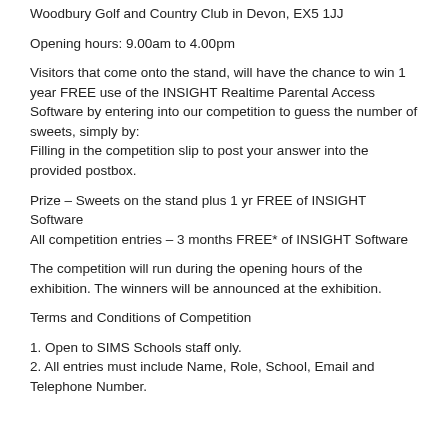Woodbury Golf and Country Club in Devon, EX5 1JJ
Opening hours: 9.00am to 4.00pm
Visitors that come onto the stand, will have the chance to win 1 year FREE use of the INSIGHT Realtime Parental Access Software by entering into our competition to guess the number of sweets, simply by:
Filling in the competition slip to post your answer into the provided postbox.
Prize – Sweets on the stand plus 1 yr FREE of INSIGHT Software
All competition entries – 3 months FREE* of INSIGHT Software
The competition will run during the opening hours of the exhibition. The winners will be announced at the exhibition.
Terms and Conditions of Competition
1. Open to SIMS Schools staff only.
2. All entries must include Name, Role, School, Email and Telephone Number.